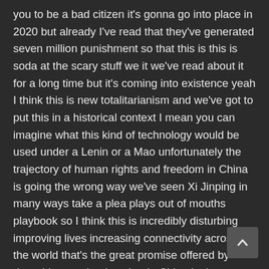you to be a bad citizen it's gonna go into place in 2020 but already I've read that they've generated seven million punishment so that this is this is soda at the scary stuff we it we've read about it for a long time but it's coming into existence yeah I think this is new totalitarianism and we've got to put this in a historical context I mean you can imagine what this kind of technology would be used under a Lenin or a Mao unfortunately the trajectory of human rights and freedom in China is going the wrong way we've seen Xi Jinping in many ways take a plea plays out of mouths playbook so I think this is incredibly disturbing improving lives increasing connectivity across the world that's the great promise offered by data-driven technology but in China it also promises greater state control and abuse of power this is the next groundbreaking development in data driven technology [recognition] and in China you can already withdraw cash [at] airports and pay for goods using just your face the co[untry is t]he world's leader in the use of this emerging technology and China's many artificial intelligence startups are
[Figure (photo): Circular avatar photo of a young woman with long dark hair, smiling, wearing a light-colored top, overlaid on the text.]